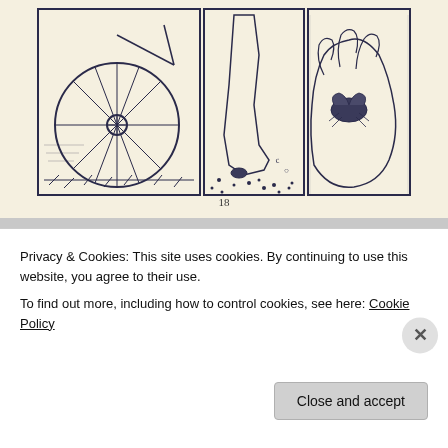[Figure (illustration): Comic book page showing three panels: left panel with a bicycle wheel, middle panel with a foot stepping on something, right panel with a hand holding a small creature/bug. Art style is dark navy blue ink on cream/off-white paper.]
18
[Figure (illustration): Comic strip panel showing a speech bubble with text 'My dad said there should be a class where they put us in a cage until we're twenty.' and a figure of a child/person running or moving near a door. Art style is navy blue ink on cream paper.]
Privacy & Cookies: This site uses cookies. By continuing to use this website, you agree to their use.
To find out more, including how to control cookies, see here: Cookie Policy